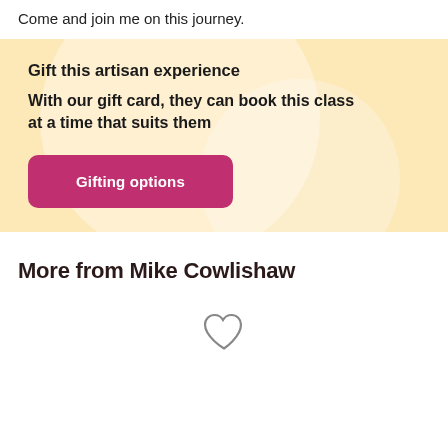Come and join me on this journey.
Gift this artisan experience
With our gift card, they can book this class at a time that suits them
Gifting options
More from Mike Cowlishaw
[Figure (illustration): Heart/like icon outline in gray]